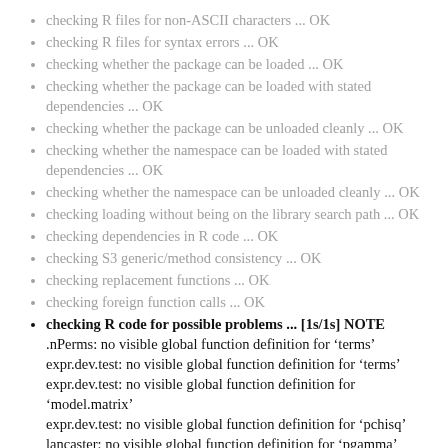checking R files for non-ASCII characters ... OK
checking R files for syntax errors ... OK
checking whether the package can be loaded ... OK
checking whether the package can be loaded with stated dependencies ... OK
checking whether the package can be unloaded cleanly ... OK
checking whether the namespace can be loaded with stated dependencies ... OK
checking whether the namespace can be unloaded cleanly ... OK
checking loading without being on the library search path ... OK
checking dependencies in R code ... OK
checking S3 generic/method consistency ... OK
checking replacement functions ... OK
checking foreign function calls ... OK
checking R code for possible problems ... [1s/1s] NOTE
.nPerms: no visible global function definition for ‘terms’
expr.dev.test: no visible global function definition for ‘terms’
expr.dev.test: no visible global function definition for ‘model.matrix’
expr.dev.test: no visible global function definition for ‘pchisq’
lancaster: no visible global function definition for ‘pgamma’